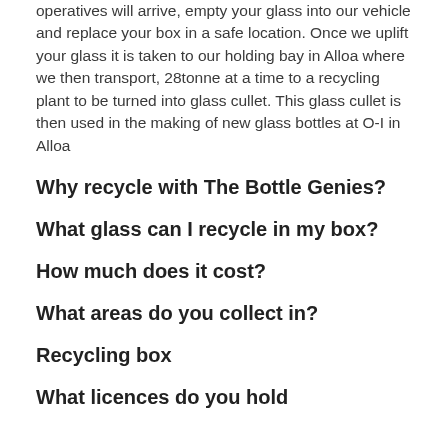operatives will arrive, empty your glass into our vehicle and replace your box in a safe location. Once we uplift your glass it is taken to our holding bay in Alloa where we then transport, 28tonne at a time to a recycling plant to be turned into glass cullet. This glass cullet is then used in the making of new glass bottles at O-I in Alloa
Why recycle with The Bottle Genies?
What glass can I recycle in my box?
How much does it cost?
What areas do you collect in?
Recycling box
What licences do you hold